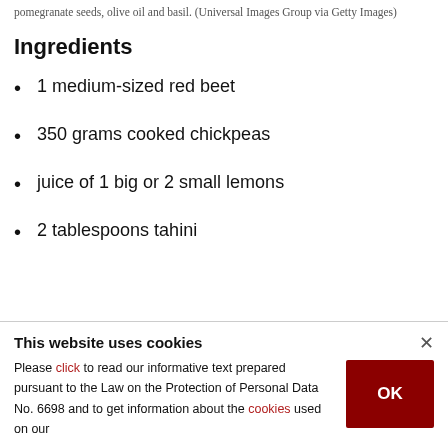pomegranate seeds, olive oil and basil. (Universal Images Group via Getty Images)
Ingredients
1 medium-sized red beet
350 grams cooked chickpeas
juice of 1 big or 2 small lemons
2 tablespoons tahini
This website uses cookies
Please click to read our informative text prepared pursuant to the Law on the Protection of Personal Data No. 6698 and to get information about the cookies used on our